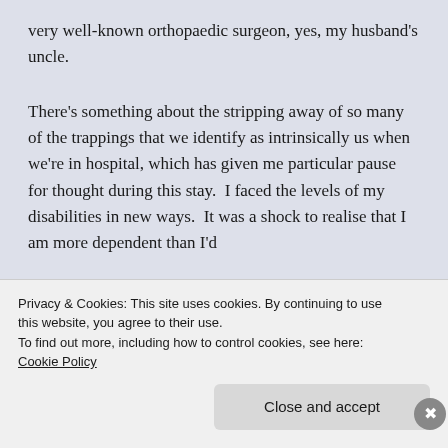very well-known orthopaedic surgeon, yes, my husband's uncle.
There's something about the stripping away of so many of the trappings that we identify as intrinsically us when we're in hospital, which has given me particular pause for thought during this stay.  I faced the levels of my disabilities in new ways.  It was a shock to realise that I am more dependent than I'd
Privacy & Cookies: This site uses cookies. By continuing to use this website, you agree to their use.
To find out more, including how to control cookies, see here: Cookie Policy
Close and accept